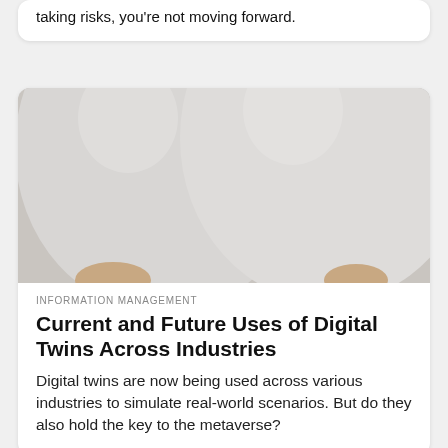taking risks, you're not moving forward.
[Figure (photo): Close-up photo of two large grey/white spherical balloons being held, with a beige background visible. The balloons nearly fill the frame.]
INFORMATION MANAGEMENT
Current and Future Uses of Digital Twins Across Industries
Digital twins are now being used across various industries to simulate real-world scenarios. But do they also hold the key to the metaverse?